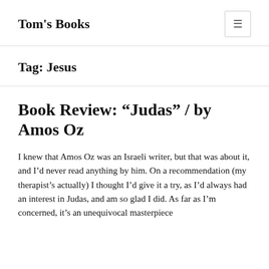Tom's Books
Tag: Jesus
Book Review: “Judas” / by Amos Oz
I knew that Amos Oz was an Israeli writer, but that was about it, and I’d never read anything by him. On a recommendation (my therapist’s actually) I thought I’d give it a try, as I’d always had an interest in Judas, and am so glad I did. As far as I’m concerned, it’s an unequivocal masterpiece